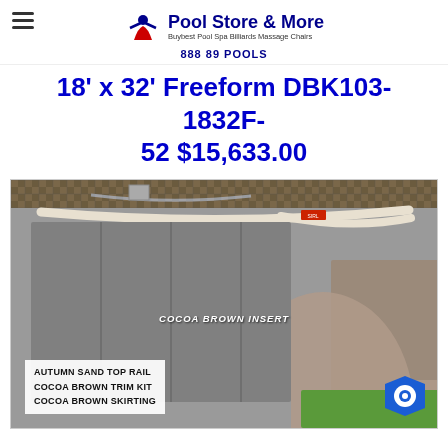Pool Store & More — Buybest Pool Spa Billiards Massage Chairs — 888 89 POOLS
18' x 32' Freeform DBK103-1832F-52 $15,633.00
[Figure (photo): Above-ground pool showing Autumn Sand top rail, Cocoa Brown trim kit and Cocoa Brown skirting panels, with Cocoa Brown insert visible. Labels on image: 'COCOA BROWN INSERT', 'AUTUMN SAND TOP RAIL / COCOA BROWN TRIM KIT / COCOA BROWN SKIRTING'. Blue hexagonal chat icon in bottom-right corner.]